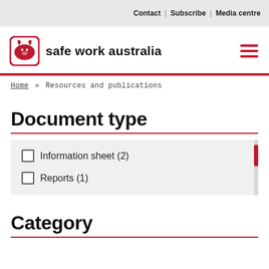Contact | Subscribe | Media centre
[Figure (logo): Safe Work Australia logo with wombat icon and text 'safe work australia']
Home » Resources and publications
Document type
Information sheet (2)
Reports (1)
Category